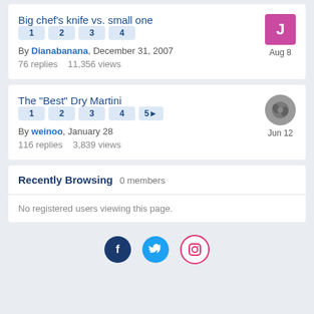Big chef's knife vs. small one
By Dianabanana, December 31, 2007
76 replies   11,356 views
The "Best" Dry Martini
By weinoo, January 28
116 replies   3,839 views
Recently Browsing   0 members
No registered users viewing this page.